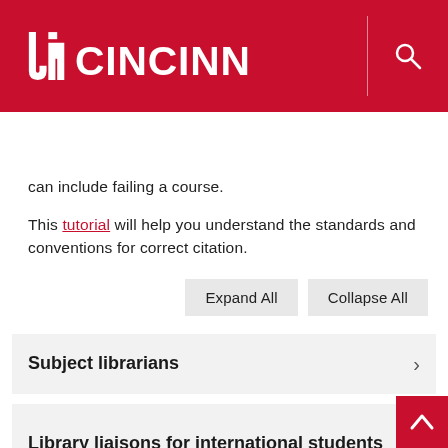UC CINCINNATI
INTERNATIONAL SERVICES
can include failing a course.
This tutorial will help you understand the standards and conventions for correct citation.
Expand All
Collapse All
Subject librarians
Library liaisons for international students